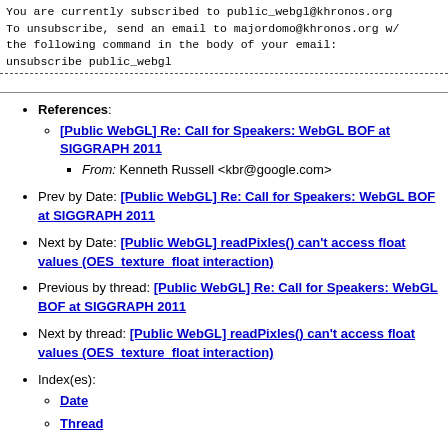You are currently subscribed to public_webgl@khronos.org
To unsubscribe, send an email to majordomo@khronos.org w/ the following command in the body of your email:
unsubscribe public_webgl
References: [Public WebGL] Re: Call for Speakers: WebGL BOF at SIGGRAPH 2011 — From: Kenneth Russell <kbr@google.com>
Prev by Date: [Public WebGL] Re: Call for Speakers: WebGL BOF at SIGGRAPH 2011
Next by Date: [Public WebGL] readPixles() can't access float values (OES_texture_float interaction)
Previous by thread: [Public WebGL] Re: Call for Speakers: WebGL BOF at SIGGRAPH 2011
Next by thread: [Public WebGL] readPixles() can't access float values (OES_texture_float interaction)
Index(es): Date, Thread